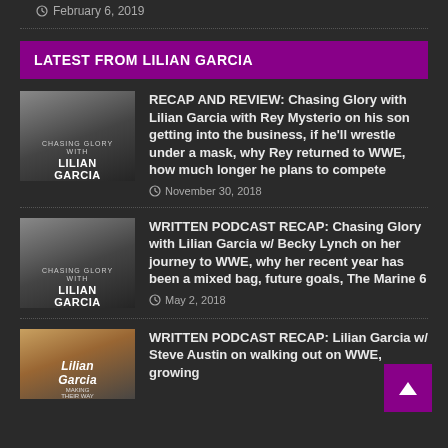February 6, 2019
LATEST FROM LILIAN GARCIA
[Figure (photo): Chasing Glory with Lilian Garcia podcast thumbnail showing Lilian Garcia]
RECAP AND REVIEW: Chasing Glory with Lilian Garcia with Rey Mysterio on his son getting into the business, if he'll wrestle under a mask, why Rey returned to WWE, how much longer he plans to compete
November 30, 2018
[Figure (photo): Chasing Glory with Lilian Garcia podcast thumbnail showing Lilian Garcia]
WRITTEN PODCAST RECAP: Chasing Glory with Lilian Garcia w/ Becky Lynch on her journey to WWE, why her recent year has been a mixed bag, future goals, The Marine 6
May 2, 2018
[Figure (photo): Lilian Garcia Making Their Way thumbnail]
WRITTEN PODCAST RECAP: Lilian Garcia w/ Steve Austin on walking out on WWE, growing